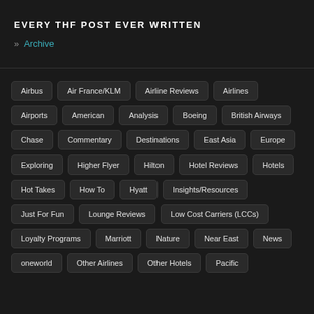EVERY THF POST EVER WRITTEN
» Archive
Airbus
Air France/KLM
Airline Reviews
Airlines
Airports
American
Analysis
Boeing
British Airways
Chase
Commentary
Destinations
East Asia
Europe
Exploring
Higher Flyer
Hilton
Hotel Reviews
Hotels
Hot Takes
How To
Hyatt
Insights/Resources
Just For Fun
Lounge Reviews
Low Cost Carriers (LCCs)
Loyalty Programs
Marriott
Nature
Near East
News
oneworld
Other Airlines
Other Hotels
Pacific